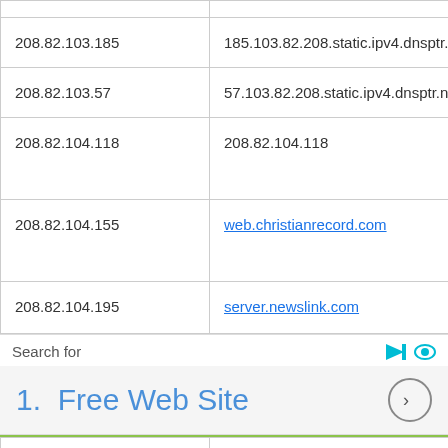| IP | Hostname |  |
| --- | --- | --- |
| 208.82.103.185 | 185.103.82.208.static.ipv4.dnsptr.net |  |
| 208.82.103.57 | 57.103.82.208.static.ipv4.dnsptr.net |  |
| 208.82.104.118 | 208.82.104.118 |  |
| 208.82.104.155 | web.christianrecord.com |  |
| 208.82.104.195 | server.newslink.com |  |
| 208.82.112.70 | D0S2704C.ptr.provps.com |  |
Search for
1.  Free Web Site
208.82.112.70  D0S2704C.ptr.provps.com